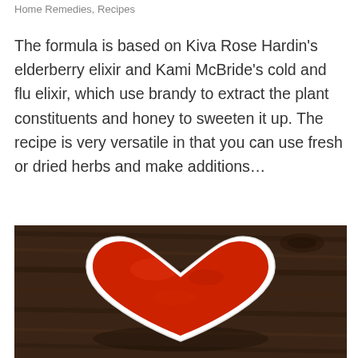Home Remedies, Recipes
The formula is based on Kiva Rose Hardin's elderberry elixir and Kami McBride's cold and flu elixir, which use brandy to extract the plant constituents and honey to sweeten it up. The recipe is very versatile in that you can use fresh or dried herbs and make additions…
[Figure (photo): A white heart-shaped bowl filled with red powder (likely elderberry or chili powder) placed on a dark rustic wooden surface.]